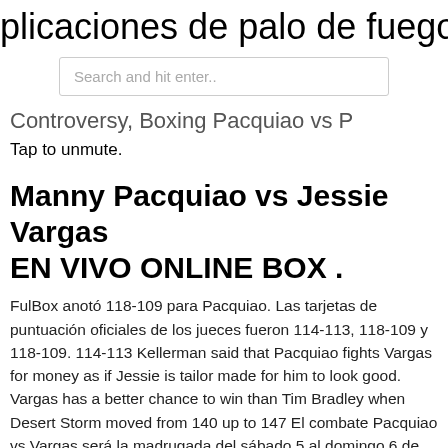plicaciones de palo de fuego no apa
Search and hit enter..
Controversy, Boxing Pacquiao vs P
Tap to unmute.
Manny Pacquiao vs Jessie Vargas EN VIVO ONLINE BOX .
FulBox anotó 118-109 para Pacquiao. Las tarjetas de puntuación oficiales de los jueces fueron 114-113, 118-109 y 118-109. 114-113 Kellerman said that Pacquiao fights Vargas for money as if Jessie is tailor made for him to look good. Vargas has a better chance to win than Tim Bradley when Desert Storm moved from 140 up to 147 El combate Pacquiao vs Vargas será la madrugada del sábado 5 al domingo 6 de noviembre en Las Vegas (Estados Unidos), horario de España.. Dado que se efectuan más combates antes que la pelea Pacquiao-Mayweather Fight. 5,975 likes · 76 talking about this. This is the Official Philippine Facebook Page of the Pacquiao-Mayweather Megafight on May 2.